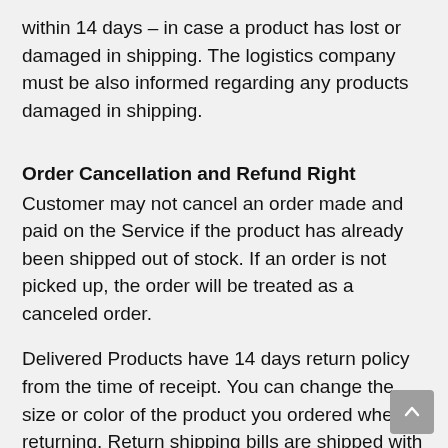within 14 days – in case a product has lost or damaged in shipping. The logistics company must be also informed regarding any products damaged in shipping.
Order Cancellation and Refund Right
Customer may not cancel an order made and paid on the Service if the product has already been shipped out of stock. If an order is not picked up, the order will be treated as a canceled order.
Delivered Products have 14 days return policy from the time of receipt. You can change the size or color of the product you ordered when returning. Return shipping bills are shipped with the same shipping method as the order. Return the product as soon as possible after